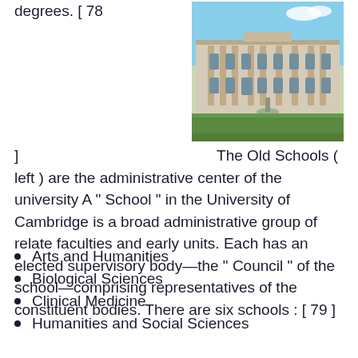degrees. [ 78 ]   The Old Schools ( left ) are the administrative center of the university A " School " in the University of Cambridge is a broad administrative group of relate faculties and early units. Each has an elected supervisory body—the " Council " of the school—comprising representatives of the constituent bodies. There are six schools : [ 79 ]
[Figure (photo): Photograph of the Old Schools building at the University of Cambridge, showing a classical neoclassical facade with columns, a courtyard, fountain, and green lawn under a blue sky.]
Arts and Humanities
Biological Sciences
Clinical Medicine
Humanities and Social Sciences